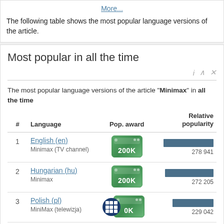More...
The following table shows the most popular language versions of the article.
Most popular in all the time
The most popular language versions of the article "Minimax" in all the time
| # | Language | Pop. award | Relative popularity |
| --- | --- | --- | --- |
| 1 | English (en)
Minimax (TV channel) | 200K | 278 941 |
| 2 | Hungarian (hu)
Minimax | 200K | 272 205 |
| 3 | Polish (pl)
MiniMax (telewizja) | 200K | 229 042 |